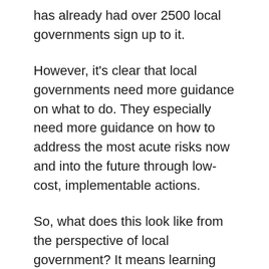has already had over 2500 local governments sign up to it.
However, it's clear that local governments need more guidance on what to do. They especially need more guidance on how to address the most acute risks now and into the future through low-cost, implementable actions.
So, what does this look like from the perspective of local government? It means learning from other cities that face similar kinds of hazards through exchanges that build the capacity of local government and people to take action in their city are important.
It could also involve assisting cities to address basic infrastructure deficits and working with local planners